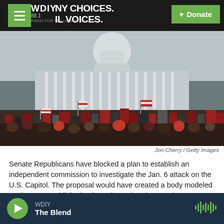WDIY 88.1 — MANY CHOICES. LOCAL VOICES. | Donate
[Figure (photo): Crowd of protesters on the steps of the U.S. Capitol building on January 6, waving flags including American and Trump flags, with the Capitol dome visible behind them.]
Jon Cherry / Getty Images
Senate Republicans have blocked a plan to establish an independent commission to investigate the Jan. 6 attack on the U.S. Capitol. The proposal would have created a body modeled on the one established to investigate the 9/11 attacks.
WDIY — The Blend